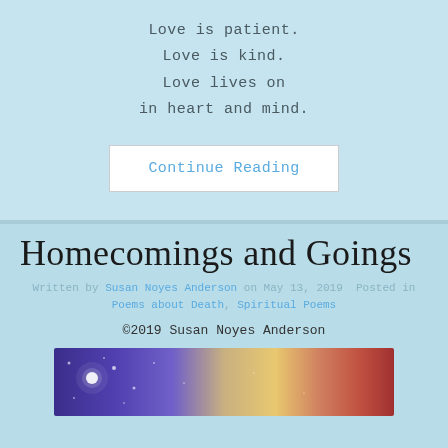Love is patient.
Love is kind.
Love lives on
in heart and mind.
Continue Reading
Homecomings and Goings
Written by Susan Noyes Anderson on May 13, 2019  Posted in Poems about Death, Spiritual Poems
©2019 Susan Noyes Anderson
[Figure (photo): Galaxy/space image with purple, blue, gold, and red nebula colors and stars]